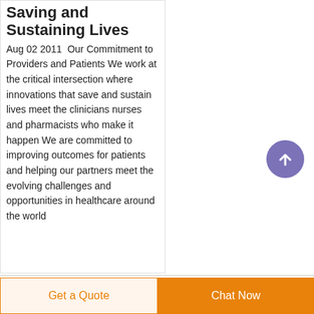Saving and Sustaining Lives
Aug 02 2011  Our Commitment to Providers and Patients We work at the critical intersection where innovations that save and sustain lives meet the clinicians nurses and pharmacists who make it happen We are committed to improving outcomes for patients and helping our partners meet the evolving challenges and opportunities in healthcare around the world
[Figure (illustration): Circular purple/violet button with a white upward arrow icon, used as a scroll-to-top button]
Get a Quote   Chat Now